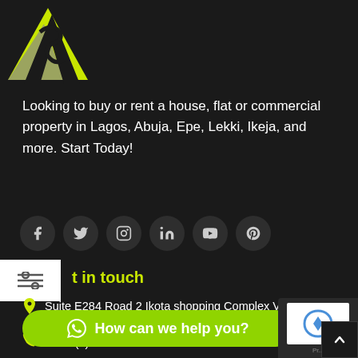[Figure (logo): Real estate company logo with stylized arrow/house mark on black and yellow background]
Looking to buy or rent a house, flat or commercial property in Lagos, Abuja, Epe, Lekki, Ikeja, and more. Start Today!
[Figure (infographic): Row of social media icon buttons: Facebook, Twitter, Instagram, LinkedIn, YouTube, Pinterest — dark circular buttons]
Get in touch
Suite E284 Road 2 Ikota shopping Complex Victoria Garden City, Lagos, Nigeria
+234 (0)8187692998
How can we help you?